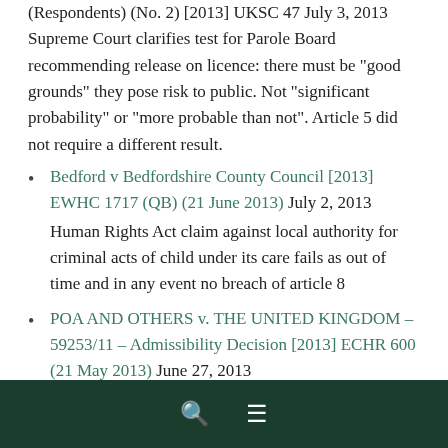(Respondents) (No. 2) [2013] UKSC 47 July 3, 2013 Supreme Court clarifies test for Parole Board recommending release on licence: there must be "good grounds" they pose risk to public. Not "significant probability" or "more probable than not". Article 5 did not require a different result.
Bedford v Bedfordshire County Council [2013] EWHC 1717 (QB) (21 June 2013) July 2, 2013 Human Rights Act claim against local authority for criminal acts of child under its care fails as out of time and in any event no breach of article 8
POA AND OTHERS v. THE UNITED KINGDOM – 59253/11 – Admissibility Decision [2013] ECHR 600 (21 May 2013) June 27, 2013 Prison officers human rights claim about not being able to strike declared inadmissable by European Court of
🔍 ≡